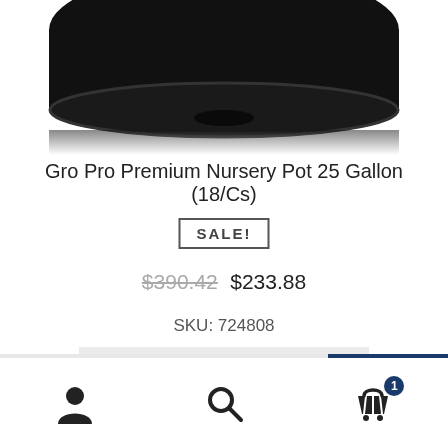[Figure (photo): Top portion of a black nursery pot (25 gallon) shown from above on white background]
Gro Pro Premium Nursery Pot 25 Gallon (18/Cs)
SALE!
$390.42  $233.88
SKU: 724808
Add to cart
[Figure (logo): Circular green leaf logo icon]
Navigation bar with user, search, and cart (1 item) icons